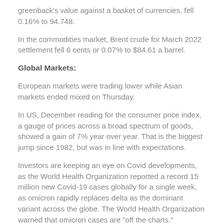greenback's value against a basket of currencies, fell 0.16% to 94.748.
In the commodities market, Brent crude for March 2022 settlement fell 6 cents or 0.07% to $84.61 a barrel.
Global Markets:
European markets were trading lower while Asian markets ended mixed on Thursday.
In US, December reading for the consumer price index, a gauge of prices across a broad spectrum of goods, showed a gain of 7% year over year. That is the biggest jump since 1982, but was in line with expectations.
Investors are keeping an eye on Covid developments, as the World Health Organization reported a record 15 million new Covid-19 cases globally for a single week, as omicron rapidly replaces delta as the dominant variant across the globe. The World Health Organization warned that omicron cases are "off the charts."